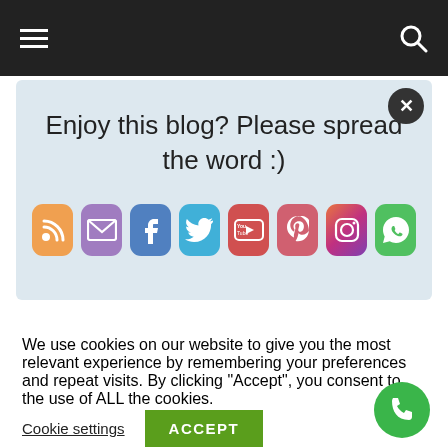[Figure (screenshot): Website navigation bar with hamburger menu icon on the left and search icon on the right, dark background]
[Figure (infographic): Social sharing popup with light blue background showing 'Enjoy this blog? Please spread the word :)' and 8 social media icon buttons (RSS, Email, Facebook, Twitter, YouTube, Pinterest, Instagram, WhatsApp), with an X close button in the top right corner]
We use cookies on our website to give you the most relevant experience by remembering your preferences and repeat visits. By clicking “Accept”, you consent to the use of ALL the cookies.
Cookie settings
ACCEPT